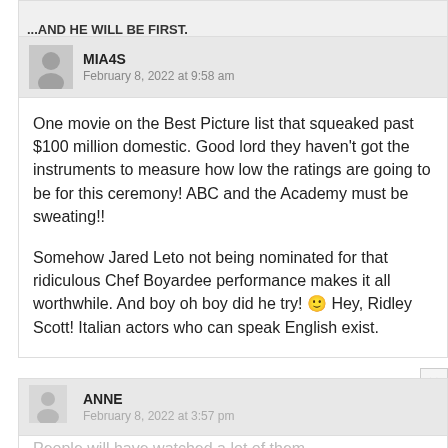...AND HE WILL BE FIRST.
26.
MIA4S
February 8, 2022 at 9:58 am
One movie on the Best Picture list that squeaked past $100 million domestic. Good lord they haven't got the instruments to measure how low the ratings are going to be for this ceremony! ABC and the Academy must be sweating!!
Somehow Jared Leto not being nominated for that ridiculous Chef Boyardee performance makes it all worthwhile. And boy oh boy did he try! 🙂 Hey, Ridley Scott! Italian actors who can speak English exist.
ANNE
February 8, 2022 at 3:57 pm
People will have watched a lot of them...